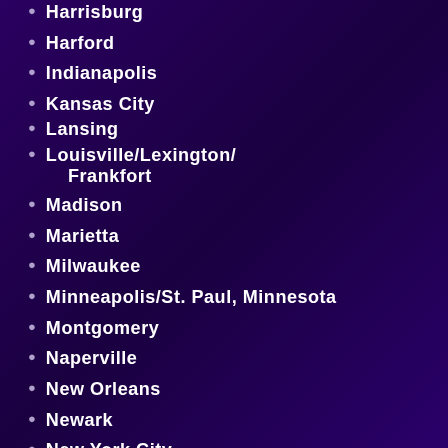Harrisburg
Harford
Indianapolis
Kansas City
Lansing
Louisville/Lexington/Frankfort
Madison
Marietta
Milwaukee
Minneapolis/St. Paul, Minnesota
Montgomery
Naperville
New Orleans
Newark
New York City